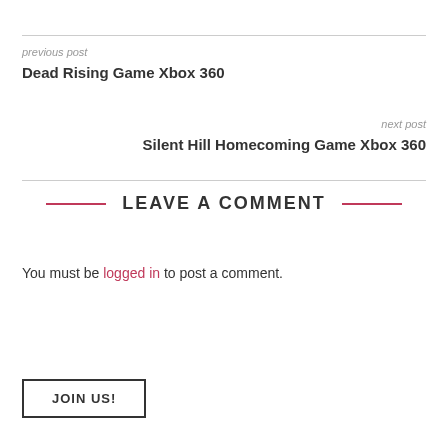previous post
Dead Rising Game Xbox 360
next post
Silent Hill Homecoming Game Xbox 360
LEAVE A COMMENT
You must be logged in to post a comment.
JOIN US!